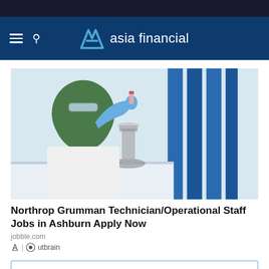asia financial
[Figure (photo): A woman wearing a green hijab and safety goggles, dressed in a white lab coat and blue gloves, holds a small vial in a laboratory setting with a microscope and blue laboratory equipment visible in the background.]
Northrop Grumman Technician/Operational Staff Jobs in Ashburn Apply Now
jobble.com
Outbrain
Popular News